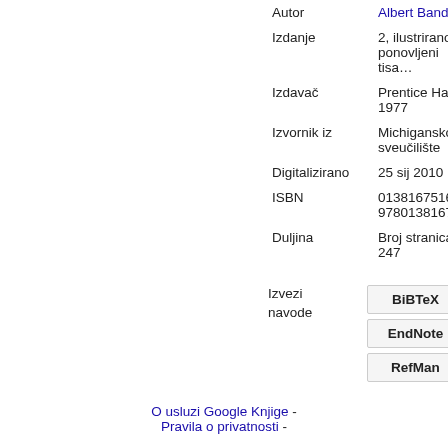| Field | Value |
| --- | --- |
| Autor | Albert Bandur… |
| Izdanje | 2, ilustrirano, ponovljeni tisa… |
| Izdavač | Prentice Hall, 1977 |
| Izvornik iz | Michigansko sveučilište |
| Digitalizirano | 25 sij 2010 |
| ISBN | 0138167516, 97801381675… |
| Duljina | Broj stranica: 247 |
Izvezi navode
BiBTeX
EndNote
RefMan
O usluzi Google Knjige - Pravila o privatnosti -